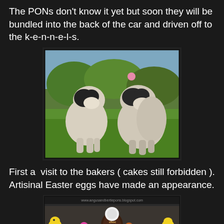The PONs don't know it yet but soon they will be bundled into the back of the car and driven off to the k-e-n-n-e-l-s.
[Figure (photo): Two fluffy black and white PON dogs standing on green grass in a garden, with bushes and trees in the background.]
First a  visit to the bakers ( cakes still forbidden ). Artisinal Easter eggs have made an appearance.
[Figure (photo): Artisinal Easter eggs and confections displayed in a bakery, including chocolate eggs and decorative figures.]